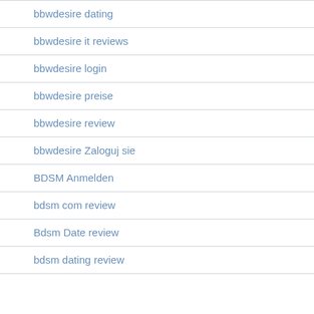bbwdesire dating
bbwdesire it reviews
bbwdesire login
bbwdesire preise
bbwdesire review
bbwdesire Zaloguj sie
BDSM Anmelden
bdsm com review
Bdsm Date review
bdsm dating review